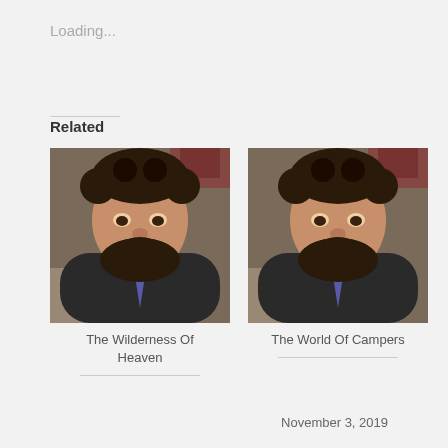Loading...
Related
[Figure (photo): Photo of a bearded man in a suit with a purple tie, smiling slightly, indoor background with holiday decor]
The Wilderness Of Heaven
[Figure (photo): Photo of a bearded man in a suit with a purple tie, smiling slightly, indoor background with holiday decor]
The World Of Campers
November 3, 2019